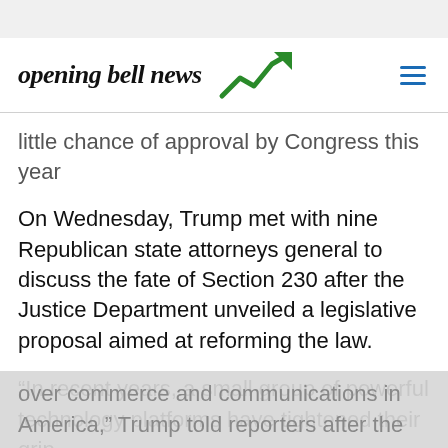opening bell news
little chance of approval by Congress this year
On Wednesday, Trump met with nine Republican state attorneys general to discuss the fate of Section 230 after the Justice Department unveiled a legislative proposal aimed at reforming the law.
“In recent years, a small group of powerful technology platforms have tightened their grip over commerce and communications in America,” Trump told reporters after the